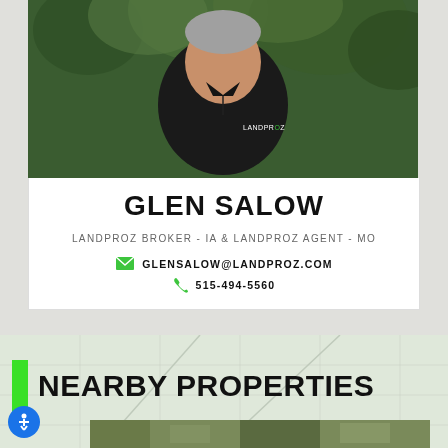[Figure (photo): Headshot of Glen Salow wearing a black LandProz polo shirt against a green leafy background]
GLEN SALOW
LANDPROZ BROKER - IA & LANDPROZ AGENT - MO
GLENSALOW@LANDPROZ.COM
515-494-5560
[Figure (map): Light road/parcel map background with grid lines]
NEARBY PROPERTIES
[Figure (photo): Partial aerial/satellite view of farmland at the bottom of the page]